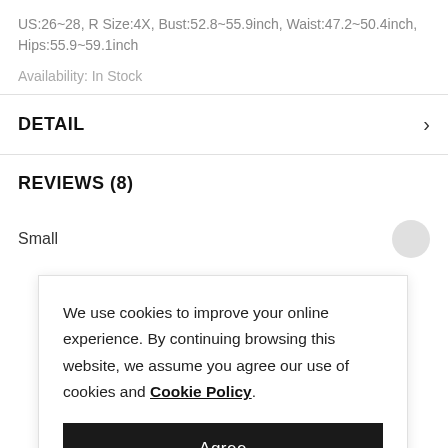US:26~28, R Size:4X, Bust:52.8~55.9inch, Waist:47.2~50.4inch, Hips:55.9~59.1inch
Availability: In Stock
DETAIL
REVIEWS (8)
Small
We use cookies to improve your online experience. By continuing browsing this website, we assume you agree our use of cookies and Cookie Policy.
Agree